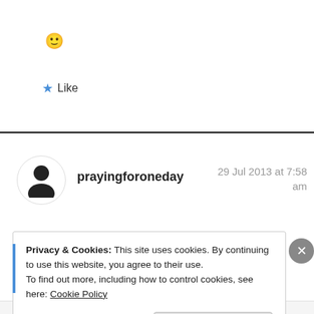[Figure (illustration): Smiley face emoji 🙂]
★ Like
prayingforoneday    29 Jul 2013 at 7:58 am
Privacy & Cookies: This site uses cookies. By continuing to use this website, you agree to their use.
To find out more, including how to control cookies, see here: Cookie Policy
Close and accept